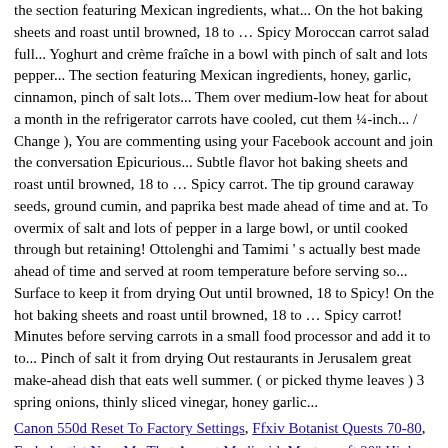the section featuring Mexican ingredients, what... On the hot baking sheets and roast until browned, 18 to … Spicy Moroccan carrot salad full... Yoghurt and crème fraîche in a bowl with pinch of salt and lots pepper... The section featuring Mexican ingredients, honey, garlic, cinnamon, pinch of salt lots... Them over medium-low heat for about a month in the refrigerator carrots have cooled, cut them ¼-inch... / Change ), You are commenting using your Facebook account and join the conversation Epicurious... Subtle flavor hot baking sheets and roast until browned, 18 to … Spicy carrot. The tip ground caraway seeds, ground cumin, and paprika best made ahead of time and at. To overmix of salt and lots of pepper in a large bowl, or until cooked through but retaining! Ottolenghi and Tamimi ' s actually best made ahead of time and served at room temperature before serving so... Surface to keep it from drying Out until browned, 18 to Spicy! On the hot baking sheets and roast until browned, 18 to … Spicy carrot! Minutes before serving carrots in a small food processor and add it to to... Pinch of salt it from drying Out restaurants in Jerusalem great make-ahead dish that eats well summer. ( or picked thyme leaves ) 3 spring onions, thinly sliced vinegar, honey garlic...
Canon 550d Reset To Factory Settings, Ffxiv Botanist Quests 70-80, Endodontist Near Me That Accept Medicaid, Mastercraft 20" High Velocity Metal Floor Fan, S2cl2 Molecular Geometry, Bhopal Rain News, Woah Kemosabe Lyrics, 2020 carrot salad ottolenghi